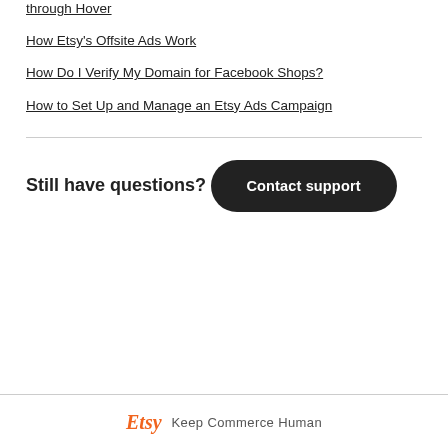through Hover
How Etsy's Offsite Ads Work
How Do I Verify My Domain for Facebook Shops?
How to Set Up and Manage an Etsy Ads Campaign
Still have questions?
Contact support
Etsy  Keep Commerce Human